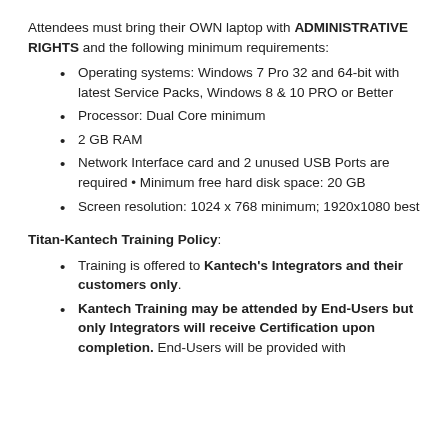Attendees must bring their OWN laptop with ADMINISTRATIVE RIGHTS and the following minimum requirements:
Operating systems: Windows 7 Pro 32 and 64-bit with latest Service Packs, Windows 8 & 10 PRO or Better
Processor: Dual Core minimum
2 GB RAM
Network Interface card and 2 unused USB Ports are required • Minimum free hard disk space: 20 GB
Screen resolution: 1024 x 768 minimum; 1920x1080 best
Titan-Kantech Training Policy:
Training is offered to Kantech's Integrators and their customers only.
Kantech Training may be attended by End-Users but only Integrators will receive Certification upon completion. End-Users will be provided with